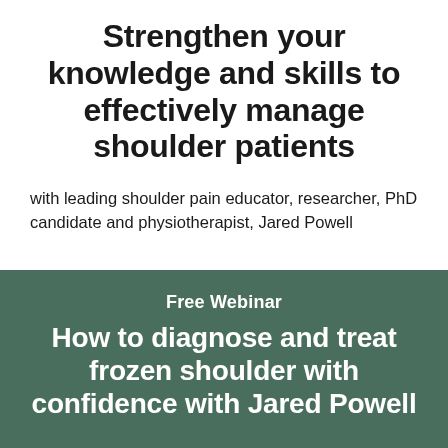Strengthen your knowledge and skills to effectively manage shoulder patients
with leading shoulder pain educator, researcher, PhD candidate and physiotherapist, Jared Powell
Free Webinar
How to diagnose and treat frozen shoulder with confidence with Jared Powell